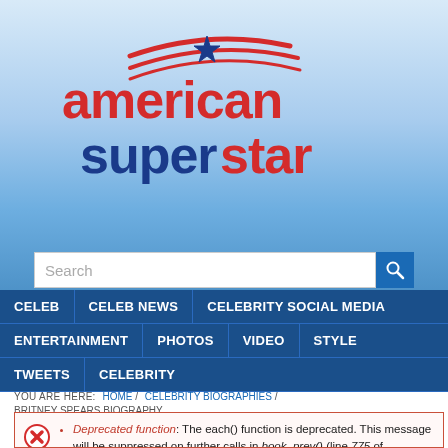[Figure (logo): American Superstar logo with red and blue text and star graphic]
[Figure (screenshot): Search bar with magnifying glass icon]
CELEB | CELEB NEWS | CELEBRITY SOCIAL MEDIA | ENTERTAINMENT | PHOTOS | VIDEO | STYLE | TWEETS | CELEBRITY
YOU ARE HERE: HOME / CELEBRITY BIOGRAPHIES / BRITNEY SPEARS BIOGRAPHY
Deprecated function: The each() function is deprecated. This message will be suppressed on further calls in book_prev() (line 775 of /home/american/public_html/modules/book/book.module). • Deprecated function: implode(): Passing glue string after